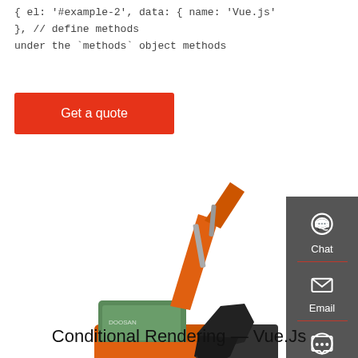{ el: '#example-2', data: { name: 'Vue.js' }, // define methods under the `methods` object methods
Get a quote
[Figure (photo): Orange Doosan tracked excavator on white background]
[Figure (screenshot): Right sidebar with Chat, Email, and Contact icons on dark grey background]
Conditional Rendering — Vue.Js